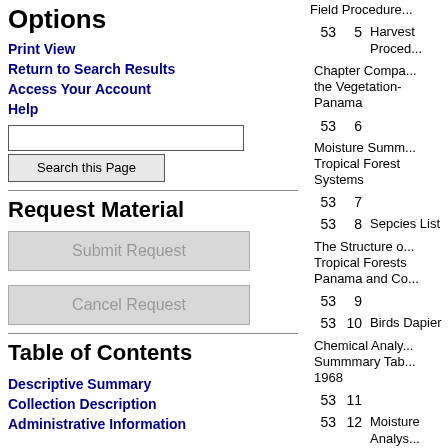Options
Print View
Return to Search Results
Access Your Account
Help
Request Material
Table of Contents
Descriptive Summary
Collection Description
Administrative Information
| Box | Folder | Title |
| --- | --- | --- |
| 53 | 5 | Harvest Proced... |
| 53 | 6 | Chapter Compa... the Vegetation- Panama |
| 53 | 7 | Moisture Summ... Tropical Forest Systems |
| 53 | 8 | Sepcies List |
| 53 | 9 | The Structure o... Tropical Forests Panama and Co... |
| 53 | 10 | Birds Dapier |
| 53 | 11 | Chemical Analy... Summmary Tab... 1968 |
| 53 | 12 | Moisture Analys... |
| 53 | 13 | Structure Paper... Bioscience Fina... |
| 53 | 14 | Introductions |
| 53 | 15 | Chapter II Numb... |